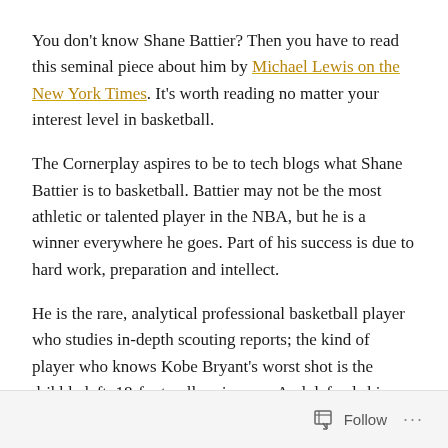You don't know Shane Battier? Then you have to read this seminal piece about him by Michael Lewis on the New York Times. It's worth reading no matter your interest level in basketball.
The Cornerplay aspires to be to tech blogs what Shane Battier is to basketball. Battier may not be the most athletic or talented player in the NBA, but he is a winner everywhere he goes. Part of his success is due to hard work, preparation and intellect.
He is the rare, analytical professional basketball player who studies in-depth scouting reports; the kind of player who knows Kobe Bryant's worst shot is the dribble left, 18-foot pull up jumper. And defends him accordingly.
The kind of player who knows the best jump shot statistically is the open corner 3—the corner play—and who makes it a
Follow ···